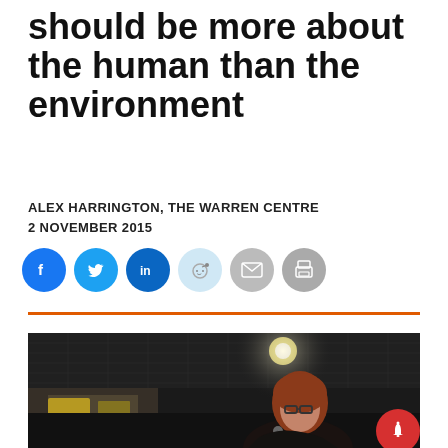should be more about the human than the environment
ALEX HARRINGTON, THE WARREN CENTRE
2 NOVEMBER 2015
[Figure (infographic): Social media share buttons: Facebook (blue), Twitter (blue), LinkedIn (blue), Reddit (light blue), Email (grey), Print (grey)]
[Figure (photo): A woman with red/auburn hair and glasses speaking at a microphone, photographed indoors under dark ceiling with spot lighting]